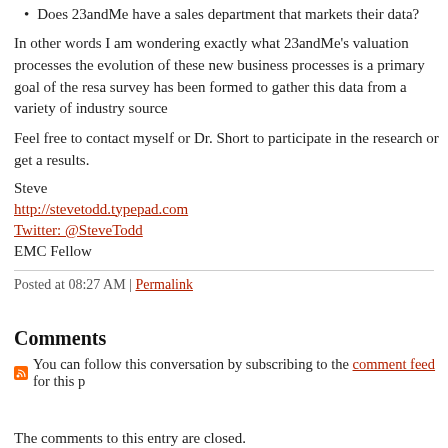Does 23andMe have a sales department that markets their data?
In other words I am wondering exactly what 23andMe's valuation processes the evolution of these new business processes is a primary goal of the research survey has been formed to gather this data from a variety of industry source
Feel free to contact myself or Dr. Short to participate in the research or get a results.
Steve
http://stevetodd.typepad.com
Twitter: @SteveTodd
EMC Fellow
Posted at 08:27 AM | Permalink
Comments
You can follow this conversation by subscribing to the comment feed for this p
The comments to this entry are closed.